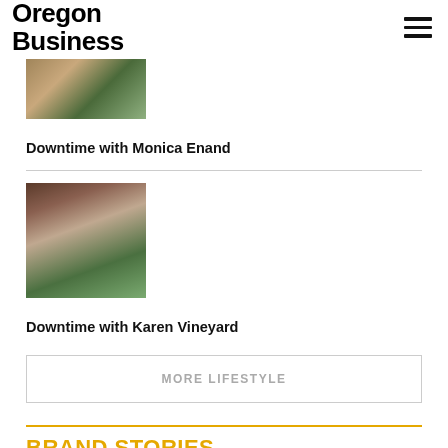Oregon Business
[Figure (photo): Small thumbnail image of a person or scene, partially cropped at top]
Downtime with Monica Enand
[Figure (photo): Photo of a woman (Karen Vineyard) standing indoors near windows]
Downtime with Karen Vineyard
MORE LIFESTYLE
BRAND STORIES
Tenants' Market Brings Bargaining